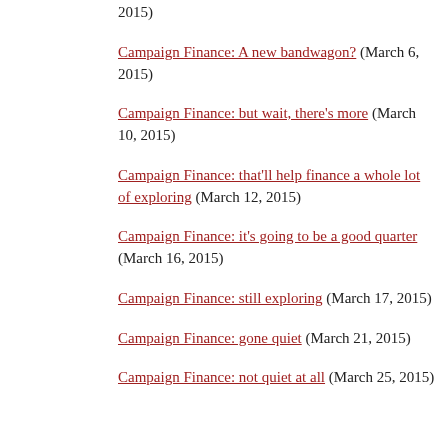2015)
Campaign Finance: A new bandwagon? (March 6, 2015)
Campaign Finance: but wait, there's more (March 10, 2015)
Campaign Finance: that'll help finance a whole lot of exploring (March 12, 2015)
Campaign Finance: it's going to be a good quarter (March 16, 2015)
Campaign Finance: still exploring (March 17, 2015)
Campaign Finance: gone quiet (March 21, 2015)
Campaign Finance: not quiet at all (March 25, 2015)